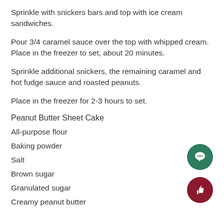Sprinkle with snickers bars and top with ice cream sandwiches.
Pour 3/4 caramel sauce over the top with whipped cream. Place in the freezer to set, about 20 minutes.
Sprinkle additional snickers, the remaining caramel and hot fudge sauce and roasted peanuts.
Place in the freezer for 2-3 hours to set.
Peanut Butter Sheet Cake
All-purpose flour
Baking powder
Salt
Brown sugar
Granulated sugar
Creamy peanut butter